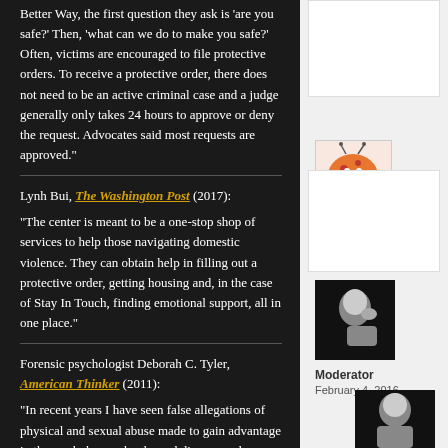Better Way, the first question they ask is 'are you safe?' Then, 'what can we do to make you safe?' Often, victims are encouraged to file protective orders. To receive a protective order, there does not need to be an active criminal case and a judge generally only takes 24 hours to approve or deny the request. Advocates said most requests are approved."
Lynh Bui, The Washington Post (2017):
“The center is meant to be a one-stop shop of services to help those navigating domestic violence. They can obtain help in filling out a protective order, getting housing and, in the case of Stay In Touch, finding emotional support, all in one place.”
Forensic psychologist Deborah C. Tyler, American Thinker (2011):
“In recent years I have seen false allegations of physical and sexual abuse made to gain advantage in the workplace, schools, and divorce and custody conflicts. I have also seen psychology—which has
[Figure (illustration): Cartoon character avatar - orange round creature with green limbs, user parkers33]
parkers33
February 4, 2016
[Figure (photo): Black and white photo portrait, Moderator user avatar]
Moderator
February 4, 2016
[Figure (photo): Partial black and white photo portrait at bottom of page]